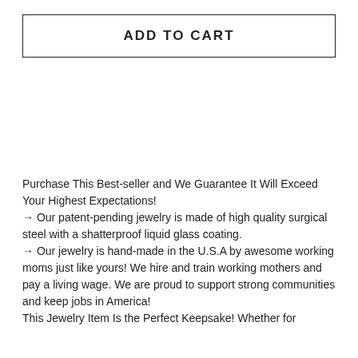ADD TO CART
Purchase This Best-seller and We Guarantee It Will Exceed Your Highest Expectations!
→ Our patent-pending jewelry is made of high quality surgical steel with a shatterproof liquid glass coating.
→ Our jewelry is hand-made in the U.S.A by awesome working moms just like yours! We hire and train working mothers and pay a living wage. We are proud to support strong communities and keep jobs in America!
This Jewelry Item Is the Perfect Keepsake! Whether for